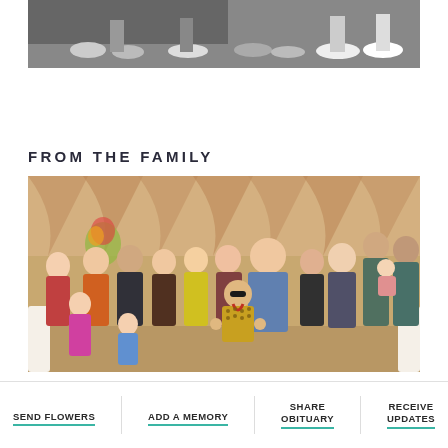[Figure (photo): Black and white photo showing lower portion of people (feet and legs) at what appears to be a formal event or dance]
FROM THE FAMILY
[Figure (photo): Color group photo of a large family with an Elvis impersonator in a sequined jumpsuit posing with thumbs up, taken in what appears to be a banquet hall with draped curtains]
SEND FLOWERS
ADD A MEMORY
SHARE OBITUARY
RECEIVE UPDATES